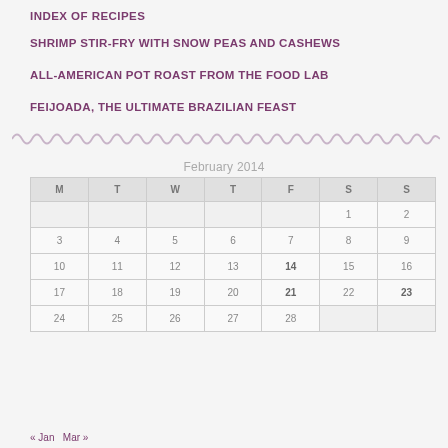INDEX OF RECIPES
SHRIMP STIR-FRY WITH SNOW PEAS AND CASHEWS
ALL-AMERICAN POT ROAST FROM THE FOOD LAB
FEIJOADA, THE ULTIMATE BRAZILIAN FEAST
February 2014
| M | T | W | T | F | S | S |
| --- | --- | --- | --- | --- | --- | --- |
|  |  |  |  |  | 1 | 2 |
| 3 | 4 | 5 | 6 | 7 | 8 | 9 |
| 10 | 11 | 12 | 13 | 14 | 15 | 16 |
| 17 | 18 | 19 | 20 | 21 | 22 | 23 |
| 24 | 25 | 26 | 27 | 28 |  |  |
« Jan   Mar »